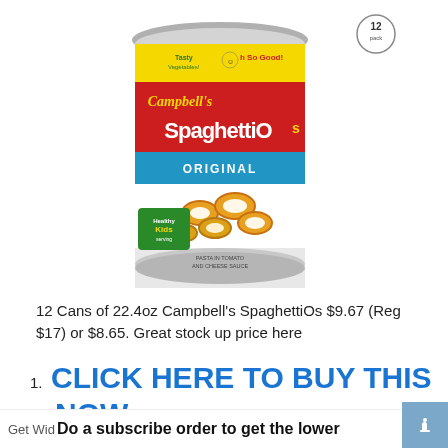[Figure (photo): A can of Campbell's SpaghettiOs Original, 22.4oz, showing the red and blue label with pasta rings in tomato and cheese sauce. A '12 pack' badge is visible in the upper right.]
12 Cans of 22.4oz Campbell's SpaghettiOs $9.67 (Reg $17) or $8.65. Great stock up price here
CLICK HERE TO BUY THIS NOW
Do a subscribe order to get the lower
Get Wid